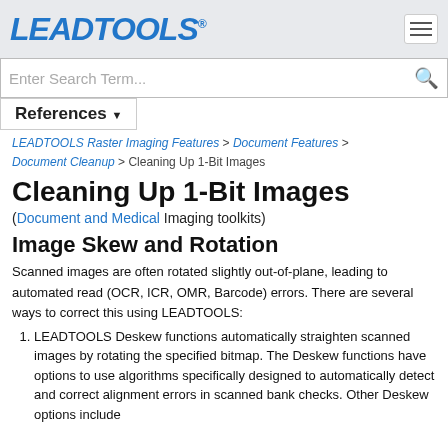[Figure (logo): LEADTOOLS logo in blue bold italic with registered trademark symbol, and hamburger menu icon on the right]
Enter Search Term...
References ▼
LEADTOOLS Raster Imaging Features > Document Features > Document Cleanup > Cleaning Up 1-Bit Images
Cleaning Up 1-Bit Images
(Document and Medical Imaging toolkits)
Image Skew and Rotation
Scanned images are often rotated slightly out-of-plane, leading to automated read (OCR, ICR, OMR, Barcode) errors. There are several ways to correct this using LEADTOOLS:
LEADTOOLS Deskew functions automatically straighten scanned images by rotating the specified bitmap. The Deskew functions have options to use algorithms specifically designed to automatically detect and correct alignment errors in scanned bank checks. Other Deskew options include